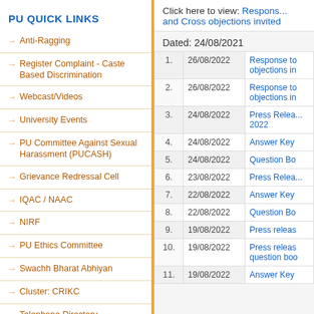PU QUICK LINKS
Anti-Ragging
Register Complaint - Caste Based Discrimination
Webcast/Videos
University Events
PU Committee Against Sexual Harassment (PUCASH)
Grievance Redressal Cell
IQAC / NAAC
NIRF
PU Ethics Committee
Swachh Bharat Abhiyan
Cluster: CRIKC
Telephone Directory
University Forms
Employment / Jobs
Right to Information
Alumni
Tenders
Click here to view: Response and Cross objections invited
Dated: 24/08/2021
| # | Date | Description |
| --- | --- | --- |
| 1. | 26/08/2022 | Response to objections in |
| 2. | 26/08/2022 | Response to objections in |
| 3. | 24/08/2022 | Press Relea... 2022 |
| 4. | 24/08/2022 | Answer Key |
| 5. | 24/08/2022 | Question Bo |
| 6. | 23/08/2022 | Press Relea... |
| 7. | 22/08/2022 | Answer Key |
| 8. | 22/08/2022 | Question Bo |
| 9. | 19/08/2022 | Press releas |
| 10. | 19/08/2022 | Press releas question boo |
| 11. | 19/08/2022 | Answer Key |